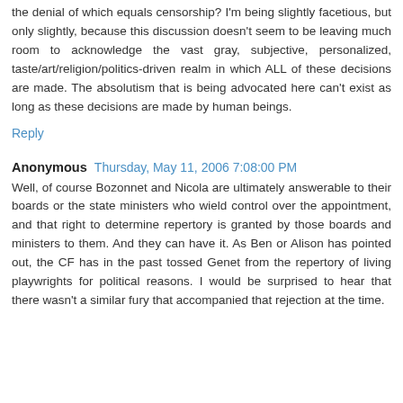the denial of which equals censorship? I'm being slightly facetious, but only slightly, because this discussion doesn't seem to be leaving much room to acknowledge the vast gray, subjective, personalized, taste/art/religion/politics-driven realm in which ALL of these decisions are made. The absolutism that is being advocated here can't exist as long as these decisions are made by human beings.
Reply
Anonymous  Thursday, May 11, 2006 7:08:00 PM
Well, of course Bozonnet and Nicola are ultimately answerable to their boards or the state ministers who wield control over the appointment, and that right to determine repertory is granted by those boards and ministers to them. And they can have it. As Ben or Alison has pointed out, the CF has in the past tossed Genet from the repertory of living playwrights for political reasons. I would be surprised to hear that there wasn't a similar fury that accompanied that rejection at the time.